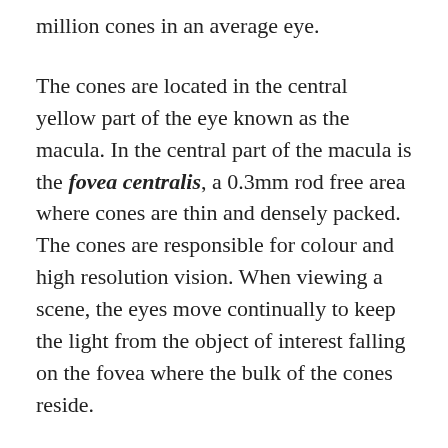million cones in an average eye.
The cones are located in the central yellow part of the eye known as the macula. In the central part of the macula is the fovea centralis, a 0.3mm rod free area where cones are thin and densely packed. The cones are responsible for colour and high resolution vision. When viewing a scene, the eyes move continually to keep the light from the object of interest falling on the fovea where the bulk of the cones reside.
The rods are more than 1000 times as sensitive to light than the cones but are not sensitive to colour. It is thought that individual photons of light can trigger a rod under optimal conditions. Given the extra light sensitivity of rods it is possible for dimly lit objects to be made visible by someone in the